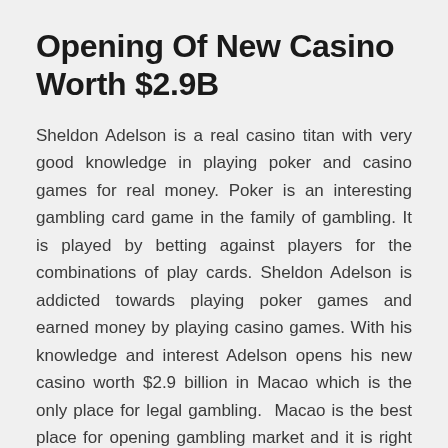Opening Of New Casino Worth $2.9B
Sheldon Adelson is a real casino titan with very good knowledge in playing poker and casino games for real money. Poker is an interesting gambling card game in the family of gambling. It is played by betting against players for the combinations of play cards. Sheldon Adelson is addicted towards playing poker games and earned money by playing casino games. With his knowledge and interest Adelson opens his new casino worth $2.9 billion in Macao which is the only place for legal gambling. Macao is the best place for opening gambling market and it is right decision to get intense growth in the field of casino games. Earning from a casino game is involved with huge risk, but carried out with proper planning and lay out you can easily